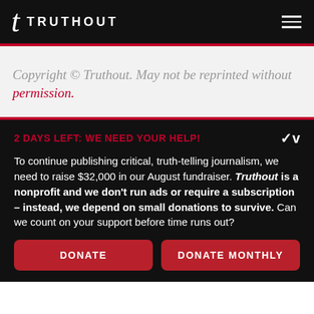t TRUTHOUT
Copyright © Truthout. May not be reprinted without permission.
2 DAYS LEFT: WE NEED YOUR HELP!
To continue publishing critical, truth-telling journalism, we need to raise $32,000 in our August fundraiser. Truthout is a nonprofit and we don't run ads or require a subscription – instead, we depend on small donations to survive. Can we count on your support before time runs out?
DONATE
DONATE MONTHLY